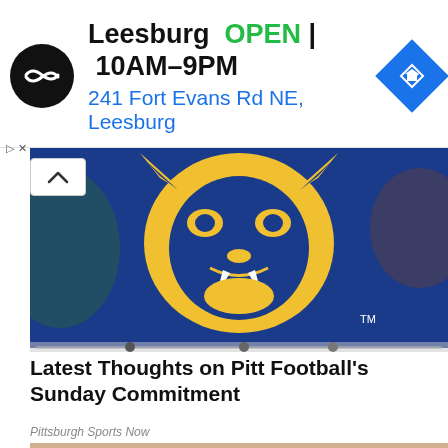[Figure (logo): Advertisement banner: Leesburg store, OPEN 10AM-9PM, 241 Fort Evans Rd NE, Leesburg, with circular logo and navigation diamond icon]
[Figure (photo): Pitt Panthers mascot logo — blue and gold panther head on blue background, with a progress/slide indicator bar at bottom]
Latest Thoughts on Pitt Football's Sunday Commitment
Pittsburgh Sports Now
[Figure (photo): A middle-aged woman with dark hair speaking, seated on a couch, wearing white, with a light gray background visible behind her]